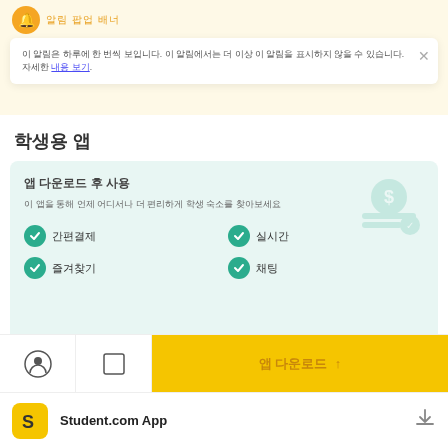알림 팝업 배너
이 알림은 하루에 한 번씩 보입니다. 이 알림에서는 더 이상 이 알림을 표시하지 않을 수 있습니다. 자세한 내용 보기.
학생용 앱
앱 다운로드 후 사용
이 앱을 통해 언제 어디서나 더 편리하게 학생 숙소를 찾아보세요
간편결제
실시간
즐겨찾기
채팅
주:  앱은 앱 스토어와 구글 플레이에서 다운로드할 수 있습니다.
앱 다운로드 ↑
Student.com App